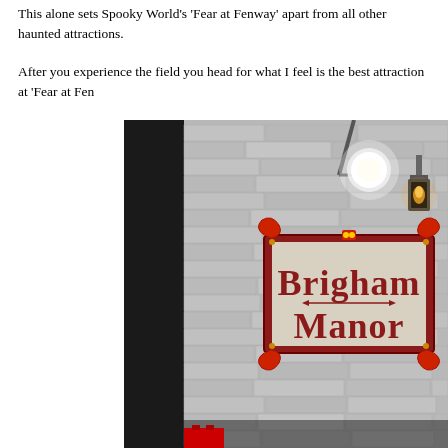This alone sets Spooky World’s ‘Fear at Fenway’ apart from all other haunted attractions.
After you experience the field you head for what I feel is the best attraction at ‘Fear at Fen…
[Figure (photo): Photograph of the Brigham Manor haunted attraction sign mounted on a gray brick wall, with a glowing light fixture and a lantern-style wall sconce visible above. The sign has an ornate red decorative frame and reads 'Brigham Manor' in large dark red lettering.]